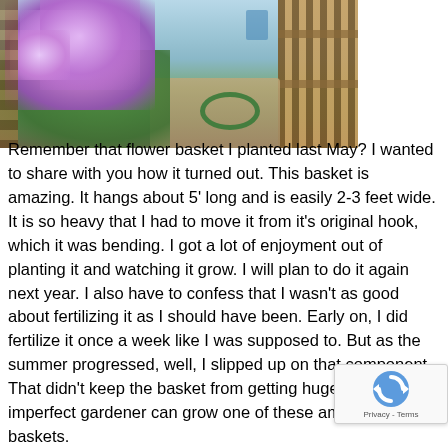[Figure (photo): Garden photo showing purple/lavender flowering hanging basket or climbing plant on the left side, with a wooden fence in the background and a garden path with a hose visible.]
Remember that flower basket I planted last May? I wanted to share with you how it turned out. This basket is amazing. It hangs about 5' long and is easily 2-3 feet wide. It is so heavy that I had to move it from it's original hook, which it was bending. I got a lot of enjoyment out of planting it and watching it grow. I will plan to do it again next year. I also have to confess that I wasn't as good about fertilizing it as I should have been. Early on, I did fertilize it once a week like I was supposed to. But as the summer progressed, well, I slipped up on that component. That didn't keep the basket from getting huge. So even an imperfect gardener can grow one of these amazing baskets.